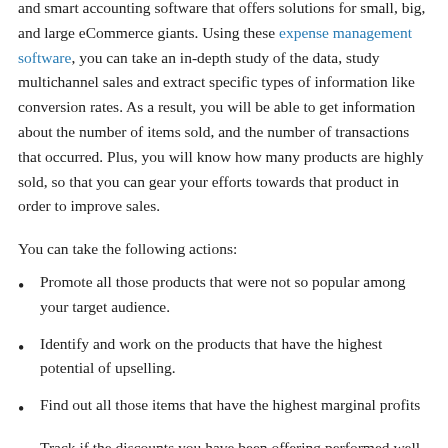and smart accounting software that offers solutions for small, big, and large eCommerce giants. Using these expense management software, you can take an in-depth study of the data, study multichannel sales and extract specific types of information like conversion rates. As a result, you will be able to get information about the number of items sold, and the number of transactions that occurred. Plus, you will know how many products are highly sold, so that you can gear your efforts towards that product in order to improve sales.
You can take the following actions:
Promote all those products that were not so popular among your target audience.
Identify and work on the products that have the highest potential of upselling.
Find out all those items that have the highest marginal profits
Track if the discounts you have been offering performed well, and recognize if the spend management is